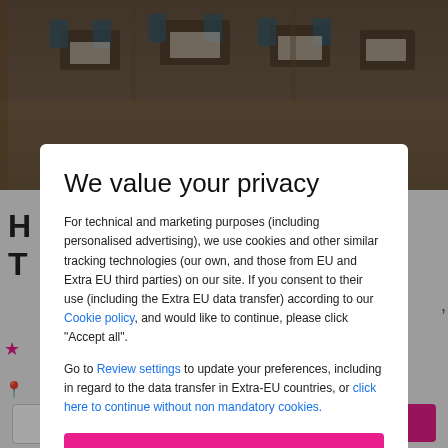[Figure (photo): Background restaurant/dining room photo with tables and chairs, partially dimmed, visible behind a privacy consent modal dialog.]
We value your privacy
For technical and marketing purposes (including personalised advertising), we use cookies and other similar tracking technologies (our own, and those from EU and Extra EU third parties) on our site. If you consent to their use (including the Extra EU data transfer) according to our Cookie policy, and would like to continue, please click "Accept all".
Go to Review settings to update your preferences, including in regard to the data transfer in Extra-EU countries, or click here to continue without non mandatory cookies.
ACCEPT ALL